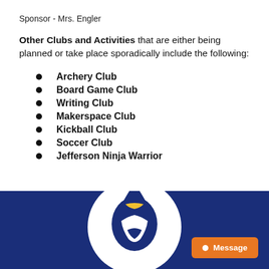Sponsor - Mrs. Engler
Other Clubs and Activities that are either being planned or take place sporadically include the following:
Archery Club
Board Game Club
Writing Club
Makerspace Club
Kickball Club
Soccer Club
Jefferson Ninja Warrior
[Figure (logo): School mascot logo (Spartan helmet) in white on a dark navy blue banner background with an orange Message button in the lower right corner.]